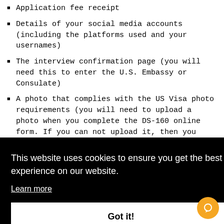Application fee receipt
Details of your social media accounts (including the platforms used and your usernames)
The interview confirmation page (you will need this to enter the U.S. Embassy or Consulate)
A photo that complies with the US Visa photo requirements (you will need to upload a photo when you complete the DS-160 online form. If you can not upload it, then you will need to submit a photo at your interview)
[Figure (screenshot): Cookie consent banner overlay with black background, text 'This website uses cookies to ensure you get the best experience on our website.', 'Learn more' link, and 'Got it!' button]
Criminal records or letters from local authorities stating